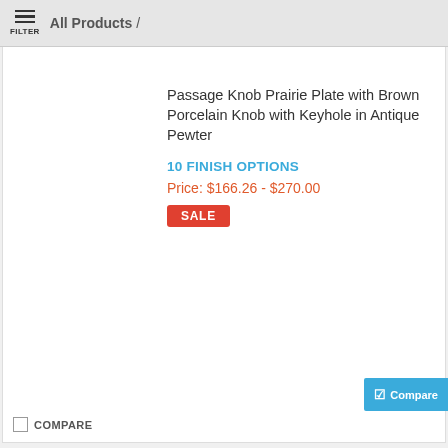FILTER  All Products /
Passage Knob Prairie Plate with Brown Porcelain Knob with Keyhole in Antique Pewter
10 FINISH OPTIONS
Price: $166.26 - $270.00
SALE
COMPARE
Sort  Page 1 of 5
ABOUT GOINGKNOBS
CUSTOMER SERVICE
HELPFUL LINKS
Don't miss a deal!
Sign up for exclusive coupons, special offers and more!